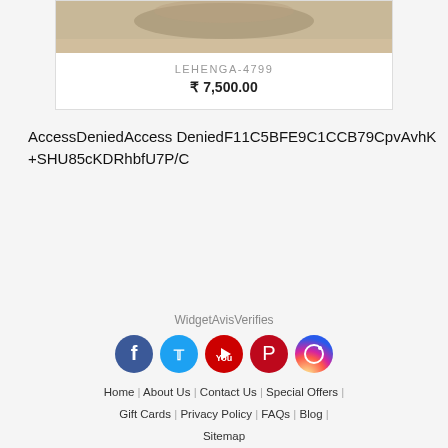[Figure (photo): Product image of a lehenga garment on a beige/tan background, partially cropped at top]
LEHENGA-4799
₹ 7,500.00
AccessDeniedAccess DeniedF11C5BFE9C1CCB79CpvAvhK+SHU85cKDRhbfU7P/C
WidgetAvisVerifies
[Figure (illustration): Social media icons: Facebook, Twitter, YouTube, Pinterest, Instagram]
Home | About Us | Contact Us | Special Offers | Gift Cards | Privacy Policy | FAQs | Blog | Sitemap